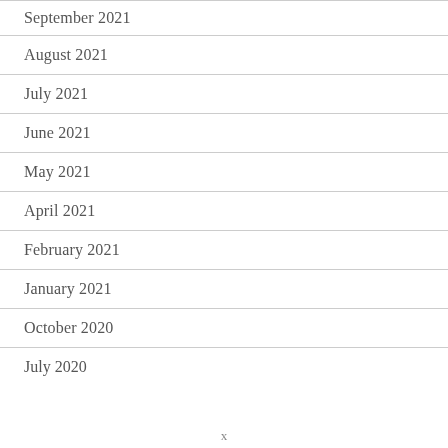September 2021
August 2021
July 2021
June 2021
May 2021
April 2021
February 2021
January 2021
October 2020
July 2020
x